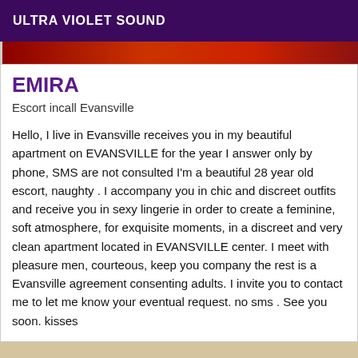ULTRA VIOLET SOUND
EMIRA
Escort incall Evansville
Hello, I live in Evansville receives you in my beautiful apartment on EVANSVILLE for the year I answer only by phone, SMS are not consulted I'm a beautiful 28 year old escort, naughty . I accompany you in chic and discreet outfits and receive you in sexy lingerie in order to create a feminine, soft atmosphere, for exquisite moments, in a discreet and very clean apartment located in EVANSVILLE center. I meet with pleasure men, courteous, keep you company the rest is a Evansville agreement consenting adults. I invite you to contact me to let me know your eventual request. no sms . See you soon. kisses